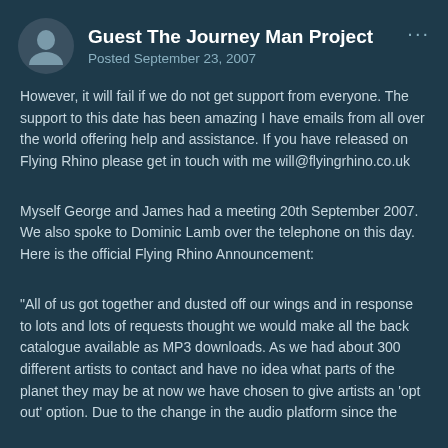Guest The Journey Man Project
Posted September 23, 2007
However, it will fail if we do not get support from everyone. The support to this date has been amazing I have emails from all over the world offering help and assistance. If you have released on Flying Rhino please get in touch with me will@flyingrhino.co.uk
Myself George and James had a meeting 20th September 2007. We also spoke to Dominic Lamb over the telephone on this day. Here is the official Flying Rhino Announcement:
"All of us got together and dusted off our wings and in response to lots and lots of requests thought we would make all the back catalogue available as MP3 downloads. As we had about 300 different artists to contact and have no idea what parts of the planet they may be at now we have chosen to give artists an 'opt out' option. Due to the change in the audio platform since the